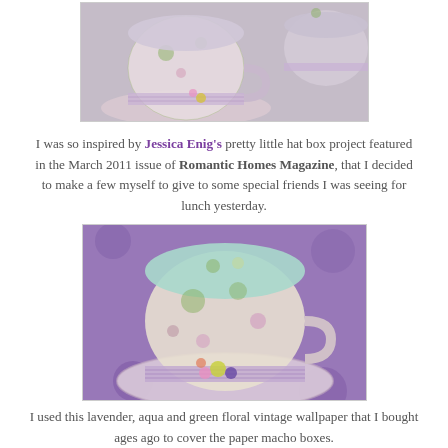[Figure (photo): A decorative hat-box craft item shaped like a teacup and saucer, covered in lavender and green floral vintage wallpaper, with gingham ribbon, on a gray textured background. Partial top view showing two hat boxes.]
I was so inspired by Jessica Enig's pretty little hat box project featured in the March 2011 issue of Romantic Homes Magazine, that I decided to make a few myself to give to some special friends I was seeing for lunch yesterday.
[Figure (photo): A decorative hat-box craft item shaped like a teacup and saucer, covered in lavender, aqua and green floral vintage wallpaper, with gingham ribbon and flower embellishments, displayed on a purple floral background.]
I used this lavender, aqua and green floral vintage wallpaper that I bought ages ago to cover the paper macho boxes.